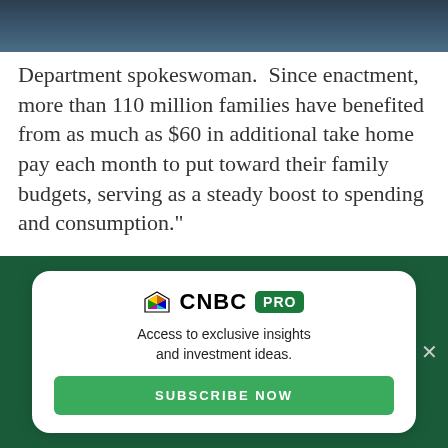Department spokeswoman. "Since enactment, more than 110 million families have benefited from as much as $60 in additional take home pay each month to put toward their family budgets, serving as a steady boost to spending and consumption."
For many, the new tax tables will simply mean smaller-than-expected tax refunds next year. The average tax refund this year was about $2,800.
[Figure (other): CNBC PRO advertisement overlay on green background. White card with CNBC PRO logo, tagline 'Access to exclusive insights and investment ideas.' and a green SUBSCRIBE NOW button.]